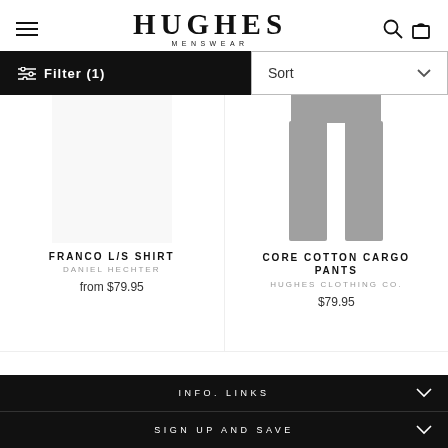HUGHES MENSWEAR
Filter (1)
Sort
[Figure (illustration): Product image placeholder for Franco L/S Shirt — white/blank rectangle]
FRANCO L/S SHIRT
DANIEL HECHTER
from $79.95
[Figure (illustration): Product image of grey cargo pants — grey trousers shape on white background]
CORE COTTON CARGO PANTS
HUGHES CLOTHING CO.
$79.95
INFO. LINKS
SIGN UP AND SAVE